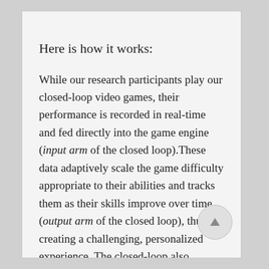Here is how it works:
While our research participants play our closed-loop video games, their performance is recorded in real-time and fed directly into the game engine (input arm of the closed loop).These data adaptively scale the game difficulty appropriate to their abilities and tracks them as their skills improve over time (output arm of the closed loop), thus creating a challenging, personalized experience. The closed-loop also delivers real-time feedback and rewards based on performance, which drives